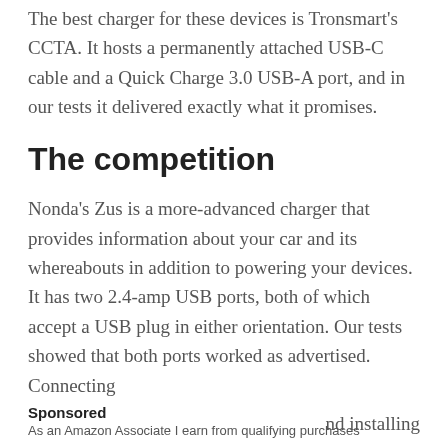The best charger for these devices is Tronsmart's CCTA. It hosts a permanently attached USB-C cable and a Quick Charge 3.0 USB-A port, and in our tests it delivered exactly what it promises.
The competition
Nonda's Zus is a more-advanced charger that provides information about your car and its whereabouts in addition to powering your devices. It has two 2.4-amp USB ports, both of which accept a USB plug in either orientation. Our tests showed that both ports worked as advertised. Connecting nd installing
Sponsored
As an Amazon Associate I earn from qualifying purchases